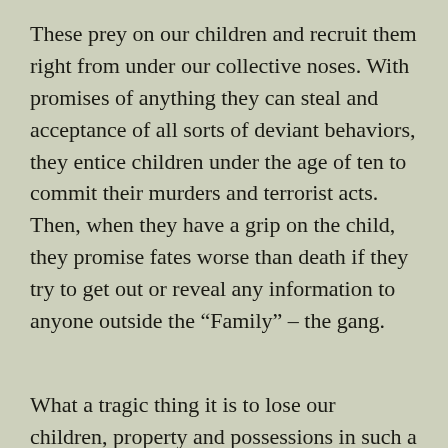These prey on our children and recruit them right from under our collective noses. With promises of anything they can steal and acceptance of all sorts of deviant behaviors, they entice children under the age of ten to commit their murders and terrorist acts. Then, when they have a grip on the child, they promise fates worse than death if they try to get out or reveal any information to anyone outside the “Family” – the gang.
What a tragic thing it is to lose our children, property and possessions in such a useless manner. Gangs can not be allowed to reign